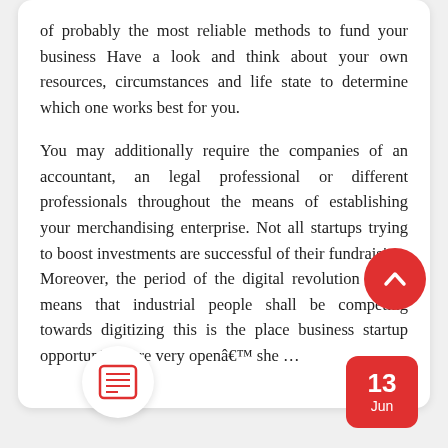of probably the most reliable methods to fund your business Have a look and think about your own resources, circumstances and life state to determine which one works best for you.

You may additionally require the companies of an accountant, an legal professional or different professionals throughout the means of establishing your merchandising enterprise. Not all startups trying to boost investments are successful of their fundraising. Moreover, the period of the digital revolution 4.zero means that industrial people shall be competing towards digitizing this is the place business startup opportunities are very openâ€™ she ...